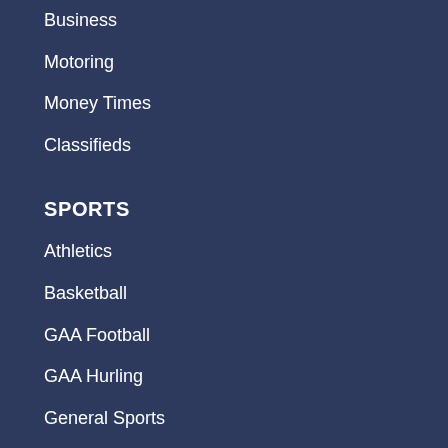Business
Motoring
Money Times
Classifieds
SPORTS
Athletics
Basketball
GAA Football
GAA Hurling
General Sports
Racing
Rugby
Soccer